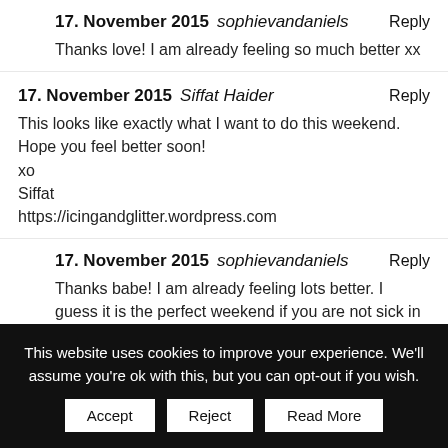17. November 2015 sophievandaniels Reply
Thanks love! I am already feeling so much better xx
17. November 2015 Siffat Haider Reply
This looks like exactly what I want to do this weekend. Hope you feel better soon!
xo
Siffat
https://icingandglitter.wordpress.com
17. November 2015 sophievandaniels Reply
Thanks babe! I am already feeling lots better. I guess it is the perfect weekend if you are not sick in bed 🙂
This website uses cookies to improve your experience. We'll assume you're ok with this, but you can opt-out if you wish.
Accept  Reject  Read More